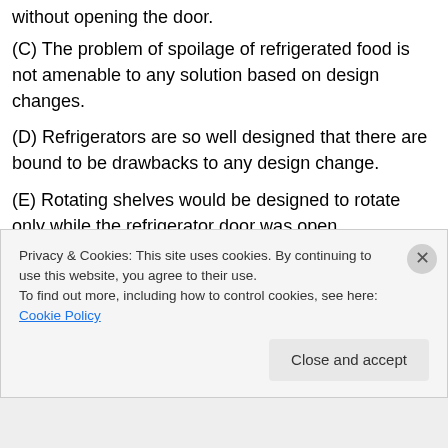without opening the door.
(C) The problem of spoilage of refrigerated food is not amenable to any solution based on design changes.
(D) Refrigerators are so well designed that there are bound to be drawbacks to any design change.
(E) Rotating shelves would be designed to rotate only while the refrigerator door was open.
“since things would fall off the shelves’ edges
Privacy & Cookies: This site uses cookies. By continuing to use this website, you agree to their use.
To find out more, including how to control cookies, see here: Cookie Policy